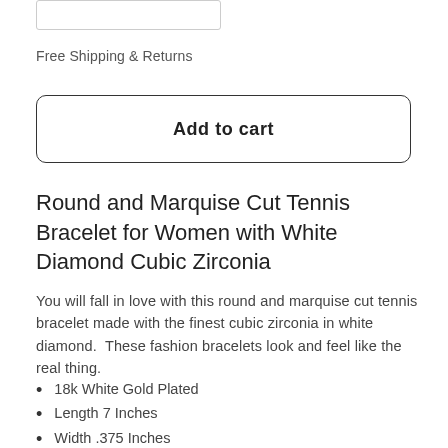[Figure (other): Partial view of a quantity selector or input box UI element at the top of the page]
Free Shipping & Returns
Add to cart
Round and Marquise Cut Tennis Bracelet for Women with White Diamond Cubic Zirconia
You will fall in love with this round and marquise cut tennis bracelet made with the finest cubic zirconia in white diamond.  These fashion bracelets look and feel like the real thing.
18k White Gold Plated
Length 7 Inches
Width .375 Inches
Gemstone 1: Cubic Zirconia, White Diamond, Quantity